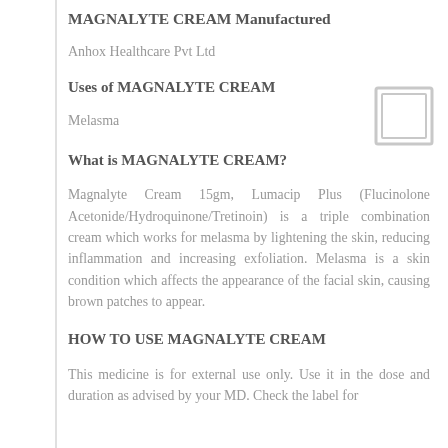MAGNALYTE CREAM Manufactured
Anhox Healthcare Pvt Ltd
Uses of MAGNALYTE CREAM
Melasma
What is MAGNALYTE CREAM?
Magnalyte Cream 15gm, Lumacip Plus (Flucinolone Acetonide/Hydroquinone/Tretinoin) is a triple combination cream which works for melasma by lightening the skin, reducing inflammation and increasing exfoliation. Melasma is a skin condition which affects the appearance of the facial skin, causing brown patches to appear.
HOW TO USE MAGNALYTE CREAM
This medicine is for external use only. Use it in the dose and duration as advised by your MD. Check the label for